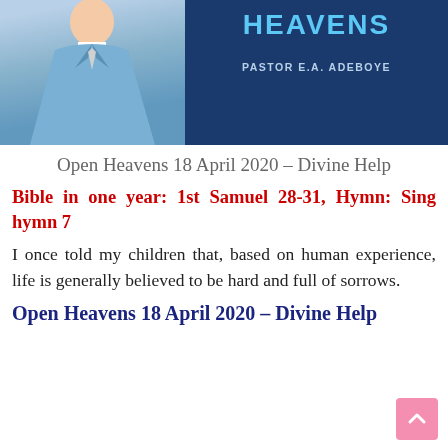[Figure (photo): Book cover of Open Heavens by Pastor E.A. Adeboye, showing a man in a blue suit on the left and the book title in blue on a dark blue background on the right. The text 'HEAVENS' is visible in large light blue letters, and 'PASTOR E.A. ADEBOYE' appears below it.]
Open Heavens 18 April 2020 – Divine Help
Bible in one year: 1st Samuel 28-31, Hymn: Sing hymn 7
I once told my children that, based on human experience, life is generally believed to be hard and full of sorrows.
Open Heavens 18 April 2020 – Divine Help